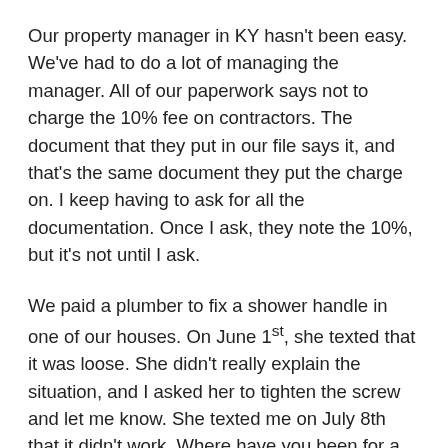Our property manager in KY hasn't been easy. We've had to do a lot of managing the manager. All of our paperwork says not to charge the 10% fee on contractors. The document that they put in our file says it, and that's the same document they put the charge on. I keep having to ask for all the documentation. Once I ask, they note the 10%, but it's not until I ask.
We paid a plumber to fix a shower handle in one of our houses. On June 1st, she texted that it was loose. She didn't really explain the situation, and I asked her to tighten the screw and let me know. She texted me on July 8th that it didn't work. Where have you been for a month?! Then she said “let me know when the plumber is coming so I can wake my husband.” Um, you waited 5 weeks to tell me that it's still broken, I'm not rushing a plumber out there today.